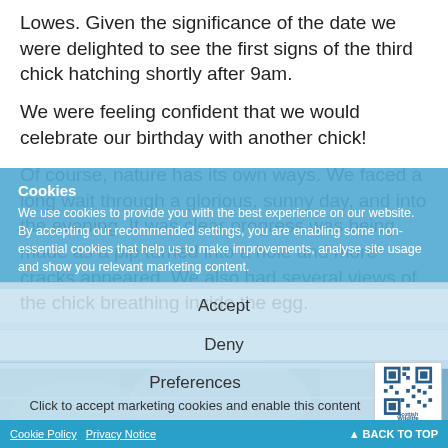Lowes. Given the significance of the date we were delighted to see the first signs of the third chick hatching shortly after 9am.
We were feeling confident that we would celebrate our birthday with another chick!
Of course, nature has its own ways. We faced a long wait through a glorious, sunny day, and into the evening. It was clear progress was being made as a pip turned into a hole and more cracks appeared. We also had several views of the chick breathing inside the egg.
Cookies
We use cookies to provide you with the best experience on our website. By accepting our recommended settings, you are enabling some non-essential cookies that help us to make improvements, analyse site usage and show you relevant marketing content.
Accept
Deny
Preferences
Click to accept marketing cookies and enable this content
[Figure (photo): Background photo of what appears to be a bird chick in a nest, shown in muted blue-gray tones]
[Figure (logo): Scottish Wildlife Trust logo with QR code pattern]
Cookie Policy  Privacy Notice  ▲ BACK TO TOP